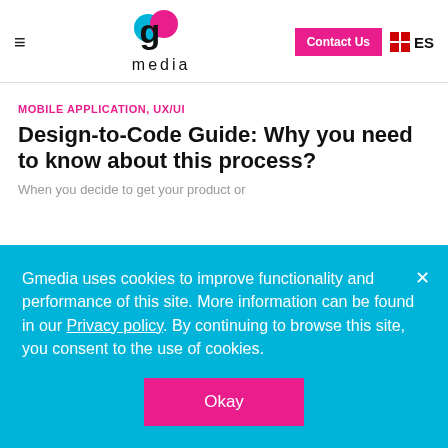Gmedia logo — hamburger menu, g media logo, Contact Us button, ES language switcher
MOBILE APPLICATION, UX/UI
Design-to-Code Guide: Why you need to know about this process?
When you decide to get your product or...
Gmedia uses cookies to improve functionality and performance of this site. More information can be found in our Privacy policy. By continuing to browse this site, you consent to the use of cookies.
Okay